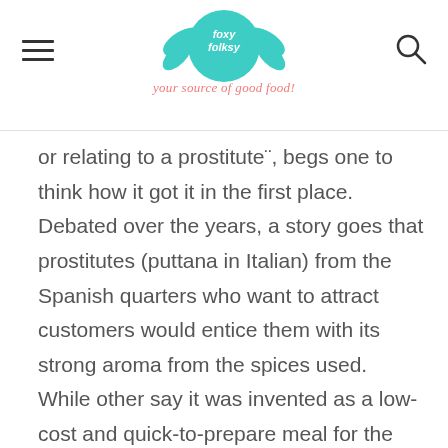Foxy Folksy — your source of good food!
or relating to a prostitute", begs one to think how it got it in the first place. Debated over the years, a story goes that prostitutes (puttana in Italian) from the Spanish quarters who want to attract customers would entice them with its strong aroma from the spices used. While other say it was invented as a low-cost and quick-to-prepare meal for the prostitutes who want to keep the intervals to the minimum